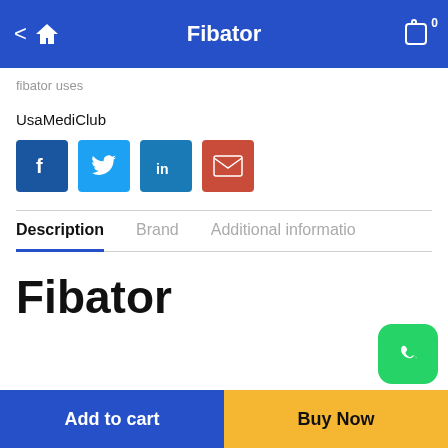Fibator
fibator uses
UsaMediClub
[Figure (other): Social share icons: Facebook, Twitter, LinkedIn, Email]
Description
Brand
Additional information
Fibator
[Figure (other): WhatsApp contact button (green icon)]
Add to cart
Buy Now